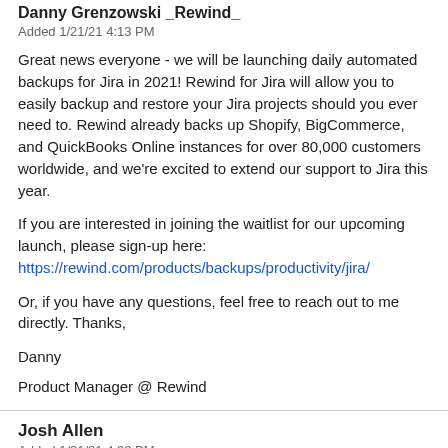Danny Grenzowski _Rewind_
Added 1/21/21 4:13 PM
Great news everyone - we will be launching daily automated backups for Jira in 2021! Rewind for Jira will allow you to easily backup and restore your Jira projects should you ever need to. Rewind already backs up Shopify, BigCommerce, and QuickBooks Online instances for over 80,000 customers worldwide, and we're excited to extend our support to Jira this year.
If you are interested in joining the waitlist for our upcoming launch, please sign-up here:
https://rewind.com/products/backups/productivity/jira/
Or, if you have any questions, feel free to reach out to me directly. Thanks,
Danny
Product Manager @ Rewind
Josh Allen
Added 1/21/21 4:38 PM
Wow this is amazing news! So looking forward to having this automated.